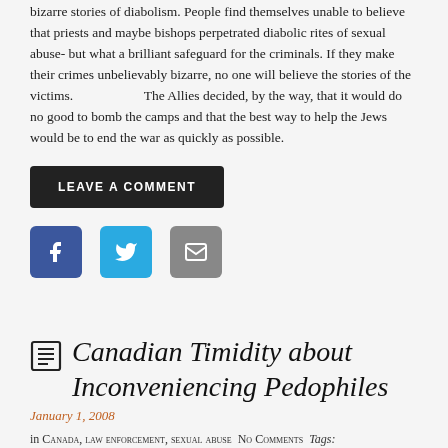bizarre stories of diabolism. People find themselves unable to believe that priests and maybe bishops perpetrated diabolic rites of sexual abuse- but what a brilliant safeguard for the criminals. If they make their crimes unbelievably bizarre, no one will believe the stories of the victims. The Allies decided, by the way, that it would do no good to bomb the camps and that the best way to help the Jews would be to end the war as quickly as possible.
LEAVE A COMMENT
[Figure (infographic): Three social sharing buttons: Facebook (dark blue), Twitter (light blue), Email (gray)]
Canadian Timidity about Inconveniencing Pedophiles
January 1, 2008
in Canada, law enforcement, sexual abuse  No Comments  Tags: Canada, law enforcement, Pedophile, pedophilia, sexual abuse,